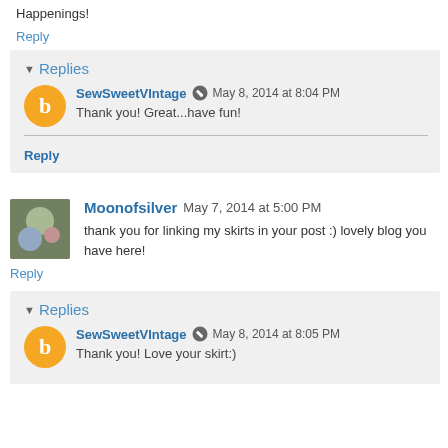Happenings!
Reply
Replies
SewSweetVIntage  May 8, 2014 at 8:04 PM
Thank you! Great...have fun!
Reply
Moonofsilver  May 7, 2014 at 5:00 PM
thank you for linking my skirts in your post :) lovely blog you have here!
Reply
Replies
SewSweetVIntage  May 8, 2014 at 8:05 PM
Thank you! Love your skirt:)